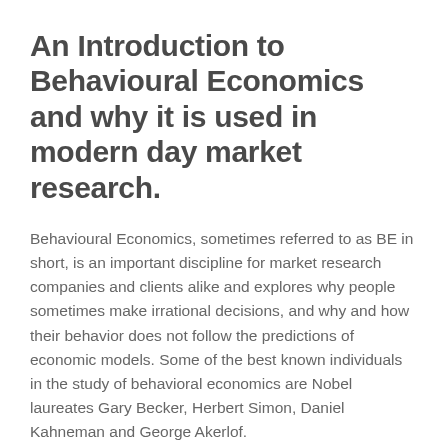An Introduction to Behavioural Economics and why it is used in modern day market research.
Behavioural Economics, sometimes referred to as BE in short, is an important discipline for market research companies and clients alike and explores why people sometimes make irrational decisions, and why and how their behavior does not follow the predictions of economic models. Some of the best known individuals in the study of behavioral economics are Nobel laureates Gary Becker, Herbert Simon, Daniel Kahneman and George Akerlof.
For a brief introduction watch this excellent video on Behavioural Economics: